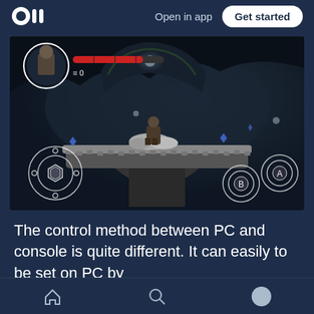Open in app  Get started
[Figure (screenshot): Mobile game screenshot showing a dark fantasy platformer game with a character on a stone platform, mobile controller UI overlays (joystick on left, A/B buttons on right), health bar at top left, and character portrait.]
The control method between PC and console is quite different. It can easily to be set on PC by
Home  Search  Profile